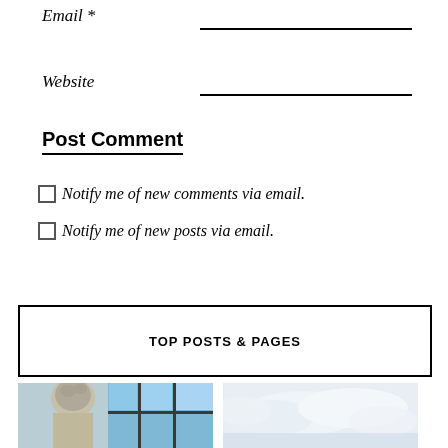Email *
Website
Post Comment
Notify me of new comments via email.
Notify me of new posts via email.
TOP POSTS & PAGES
[Figure (photo): A stone sculpture of a figure, viewed from behind, with a window showing sky in the background]
[Figure (photo): A landscape image showing clouds and sky, appearing hazy and light-toned]